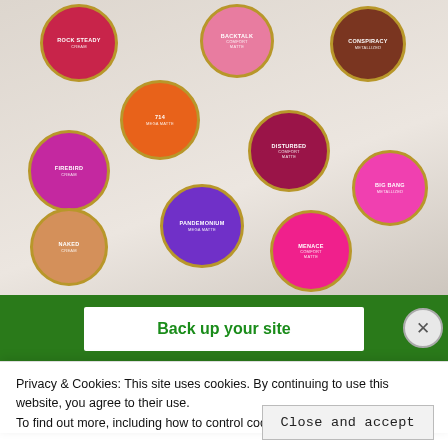[Figure (photo): Photo of multiple Urban Decay lipsticks laid out showing their tops/caps with product names: Rock Steady (Cream), Backtalk (Comfort Matte), Conspiracy (Metallized), 714 (Mega Matte), Firebird (Cream), Disturbed (Comfort Matte), Big Bang (Metallized), Pandemonium (Mega Matte), Naked (Cream), Menace (Comfort Matte)]
[Figure (screenshot): Partial view of a website banner with green background and white popup showing 'Back up your site' text in green]
Privacy & Cookies: This site uses cookies. By continuing to use this website, you agree to their use.
To find out more, including how to control cookies, see here: Cookie Policy
Close and accept